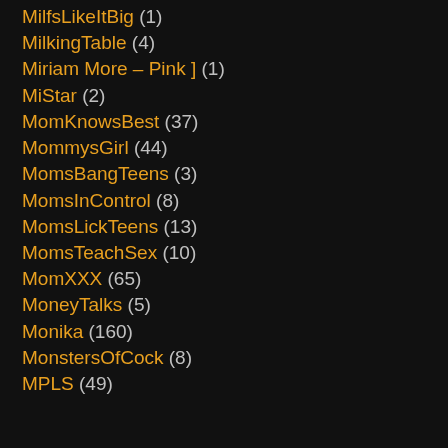MilfsLikeItBig (1)
MilkingTable (4)
Miriam More – Pink ] (1)
MiStar (2)
MomKnowsBest (37)
MommysGirl (44)
MomsBangTeens (3)
MomsInControl (8)
MomsLickTeens (13)
MomsTeachSex (10)
MomXXX (65)
MoneyTalks (5)
Monika (160)
MonstersOfCock (8)
MPLS (49)